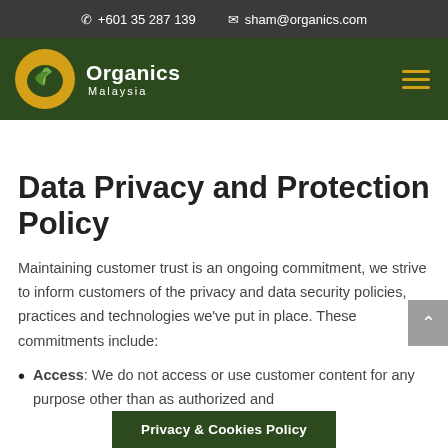+601 35 287 139  sham@organics.com
[Figure (logo): Organics Malaysia logo — yellow circle with green leaf icon, white text 'Organics Malaysia' on dark green navigation bar]
Data Privacy and Protection Policy
Maintaining customer trust is an ongoing commitment, we strive to inform customers of the privacy and data security policies, practices and technologies we've put in place. These commitments include:
Access: We do not access or use customer content for any purpose oth... ...ed and